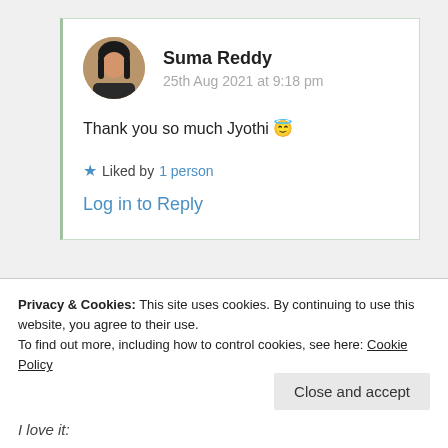Suma Reddy
25th Aug 2021 at 9:18 pm
Thank you so much Jyothi 😇
★ Liked by 1 person
Log in to Reply
Privacy & Cookies: This site uses cookies. By continuing to use this website, you agree to their use.
To find out more, including how to control cookies, see here: Cookie Policy
Close and accept
I love it: